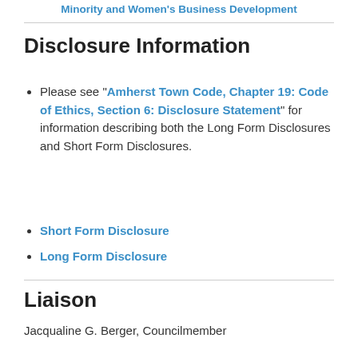Minority and Women's Business Development
Disclosure Information
Please see "Amherst Town Code, Chapter 19: Code of Ethics, Section 6: Disclosure Statement" for information describing both the Long Form Disclosures and Short Form Disclosures.
Short Form Disclosure
Long Form Disclosure
Liaison
Jacqualine G. Berger, Councilmember
Members
Cecile M. Meyer (M)  term expires  12/31/2022